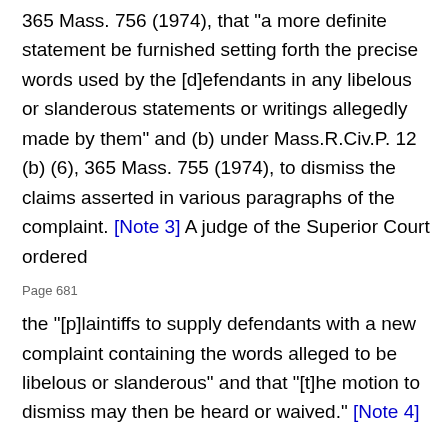365 Mass. 756 (1974), that "a more definite statement be furnished setting forth the precise words used by the [d]efendants in any libelous or slanderous statements or writings allegedly made by them" and (b) under Mass.R.Civ.P. 12 (b) (6), 365 Mass. 755 (1974), to dismiss the claims asserted in various paragraphs of the complaint. [Note 3] A judge of the Superior Court ordered
Page 681
the "[p]laintiffs to supply defendants with a new complaint containing the words alleged to be libelous or slanderous" and that "[t]he motion to dismiss may then be heard or waived." [Note 4]
The plaintiff and his wife thereupon filed an amended